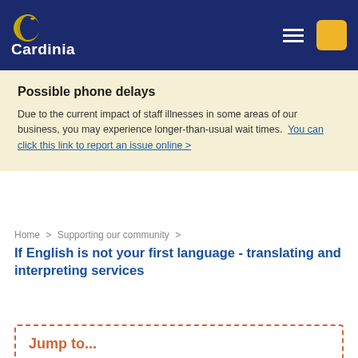[Figure (logo): Cardinia Shire Council logo with crescent moon and bird icon in gold on dark navy background, with white text 'Cardinia']
Possible phone delays

Due to the current impact of staff illnesses in some areas of our business, you may experience longer-than-usual wait times. You can click this link to report an issue online >
Home > Supporting our community > If English is not your first language - translating and interpreting services
Jump to...